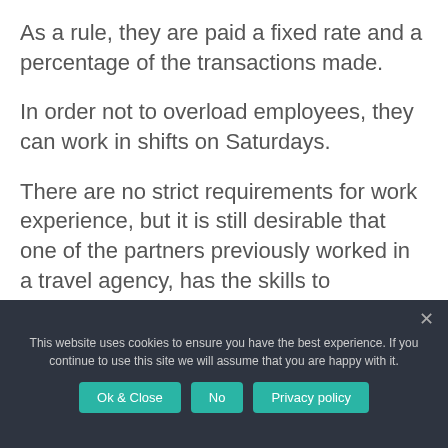As a rule, they are paid a fixed rate and a percentage of the transactions made.
In order not to overload employees, they can work in shifts on Saturdays.
There are no strict requirements for work experience, but it is still desirable that one of the partners previously worked in a travel agency, has the skills to communicate with clients and understand the practical side of organizing the task.
This website uses cookies to ensure you have the best experience. If you continue to use this site we will assume that you are happy with it.